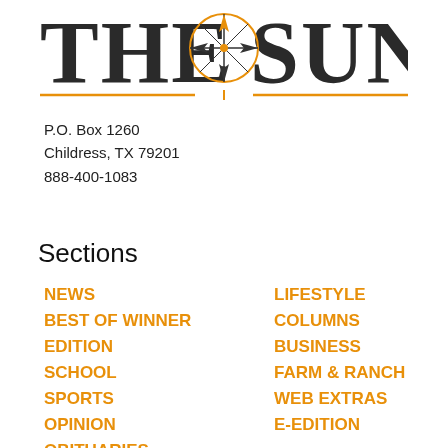[Figure (logo): The Sun newspaper logo with compass rose icon, dark serif text 'THE SUN' with orange horizontal rules beneath]
P.O. Box 1260
Childress, TX 79201
888-400-1083
Sections
NEWS
BEST OF WINNER EDITION
SCHOOL
SPORTS
OPINION
OBITUARIES
LIFESTYLE
COLUMNS
BUSINESS
FARM & RANCH
WEB EXTRAS
E-EDITION